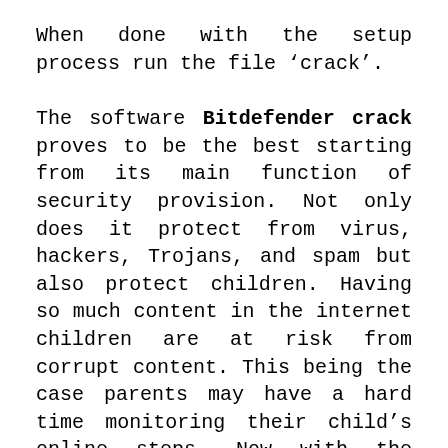When done with the setup process run the file 'crack'.
The software Bitdefender crack proves to be the best starting from its main function of security provision. Not only does it protect from virus, hackers, Trojans, and spam but also protect children. Having so much content in the internet children are at risk from corrupt content. This being the case parents may have a hard time monitoring their child's online steps. Now with the Bitdefender total security 26.0.21.78 parents can be assured of their children security from corrupt content. Using the software they will monitor a child's activity as well as location. The good thing is because it is secretive while doing this. A password